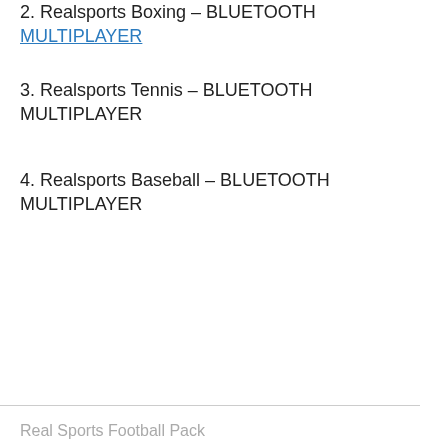2. Realsports Boxing – BLUETOOTH MULTIPLAYER
3. Realsports Tennis – BLUETOOTH MULTIPLAYER
4. Realsports Baseball – BLUETOOTH MULTIPLAYER
Real Sports Football Pack